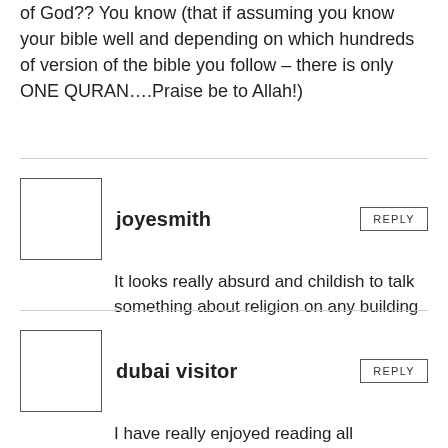of God?? You know (that if assuming you know your bible well and depending on which hundreds of version of the bible you follow – there is only ONE QURAN….Praise be to Allah!)
joyesmith
It looks really absurd and childish to talk something about religion on any building
dubai visitor
I have really enjoyed reading all comments. I can only say that this is doen in God's will and He allowed this so that people in teh